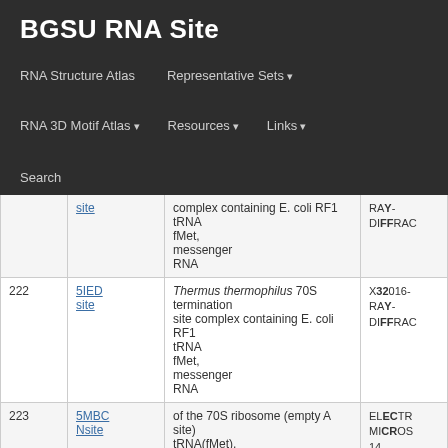BGSU RNA Site
RNA Structure Atlas | Representative Sets | RNA 3D Motif Atlas | Resources | Links | Search
| # | PDB ID | Description | Method/Year |
| --- | --- | --- | --- |
|  | 5IEC / site | Thermus thermophilus 70S termination site complex containing E. coli RF1 tRNA fMet, messenger RNA | X-RAY DIFFRACTION 2016-10 |
| 222 | 5IED / site | Thermus thermophilus 70S termination site complex containing E. coli RF1 tRNA fMet, messenger RNA | X-RAY DIFFRACTION 2016-10 |
| 223 | 5MBC / Nsite | Structure of the 70S ribosome (empty A site) tRNA(fMet), | ELECTRON MICROSCOPY 14 |